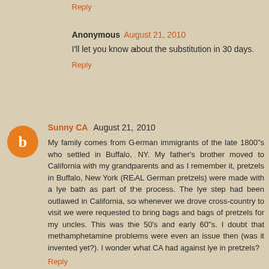Reply
Anonymous  August 21, 2010
I'll let you know about the substitution in 30 days.
Reply
Sunny CA  August 21, 2010
My family comes from German immigrants of the late 1800"s who settled in Buffalo, NY. My father's brother moved to California with my grandparents and as I remember it, pretzels in Buffalo, New York (REAL German pretzels) were made with a lye bath as part of the process. The lye step had been outlawed in California, so whenever we drove cross-country to visit we were requested to bring bags and bags of pretzels for my uncles. This was the 50's and early 60"s. I doubt that methamphetamine problems were even an issue then (was it invented yet?). I wonder what CA had against lye in pretzels?
Reply